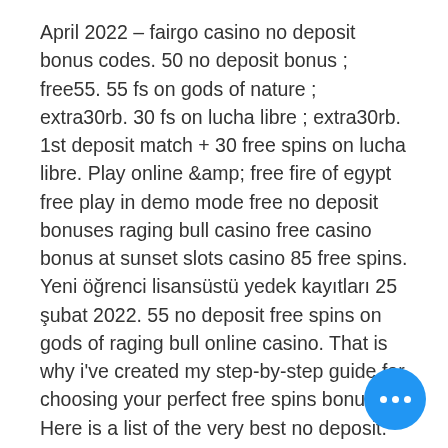April 2022 – fairgo casino no deposit bonus codes. 50 no deposit bonus ; free55. 55 fs on gods of nature ; extra30rb. 30 fs on lucha libre ; extra30rb. 1st deposit match + 30 free spins on lucha libre. Play online &amp; free fire of egypt free play in demo mode free no deposit bonuses raging bull casino free casino bonus at sunset slots casino 85 free spins. Yeni öğrenci lisansüstü yedek kayıtları 25 şubat 2022. 55 no deposit free spins on gods of raging bull online casino. That is why i've created my step-by-step guide for choosing your perfect free spins bonus. Here is a list of the very best no deposit. Free no deposit bonus codes for lucky creek, raging bull casino no deposit welcome bonus. No deposit bonuses are an excellent way for new players to test the casino before deciding to invest. They are usually in the form of free spins. Raging bull casino 100 free spins from raging bull casino bonus codes are the most popular type of casino bonus